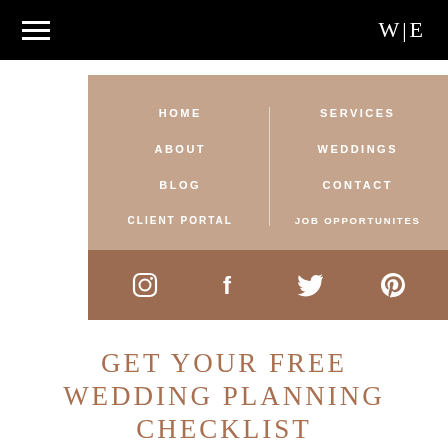W|E
[Figure (screenshot): Navigation menu with tan/mauve background showing HOME, ABOUT, BLOG, CLIENT PORTAL on left and SERVICES, WEDDINGS, CONTACT, JOB OPPORTUNITES on right, with social media icons (Instagram, Facebook, Twitter, Pinterest) in a darker brown bar below]
GET YOUR FREE WEDDING PLANNING CHECKLIST